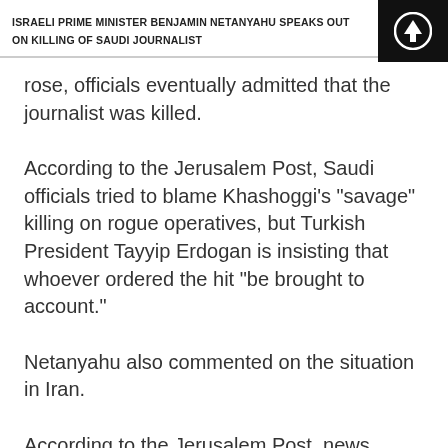ISRAELI PRIME MINISTER BENJAMIN NETANYAHU SPEAKS OUT ON KILLING OF SAUDI JOURNALIST
rose, officials eventually admitted that the journalist was killed.
According to the Jerusalem Post, Saudi officials tried to blame Khashoggi's "savage" killing on rogue operatives, but Turkish President Tayyip Erdogan is insisting that whoever ordered the hit "be brought to account."
Netanyahu also commented on the situation in Iran.
According to the Jerusalem Post, news broke earlier this week confirming that Mossad had provided Denmark with pertinent information that derailed an Iranian plot to assassinate an Iranian separatist leader in the country. This led Denmark